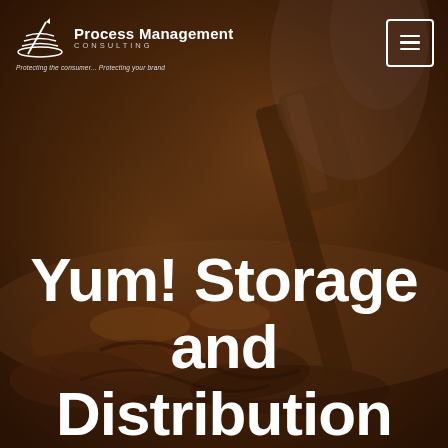[Figure (photo): Background photo of glazed or caramelized food (appears to be meat or pastry with sauce) being served with a wooden spatula, dark moody tone with warm brown and amber colors]
Process Management CONSULTING — Protecting the consumer... Protecting your brand
Yum! Storage and Distribution